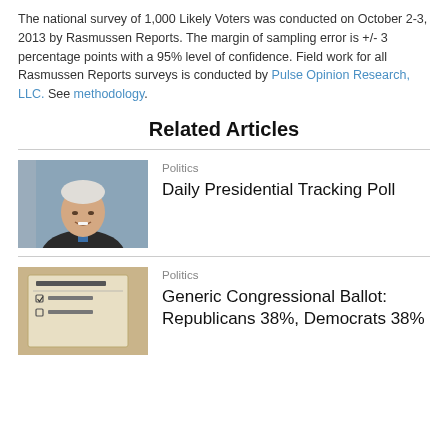The national survey of 1,000 Likely Voters was conducted on October 2-3, 2013 by Rasmussen Reports. The margin of sampling error is +/- 3 percentage points with a 95% level of confidence. Field work for all Rasmussen Reports surveys is conducted by Pulse Opinion Research, LLC. See methodology.
Related Articles
[Figure (photo): Portrait photo of an older man (Joe Biden) smiling, wearing a dark suit and blue tie, with an American flag in the background]
Politics
Daily Presidential Tracking Poll
[Figure (photo): Photo of an Official Ballot paper showing Democratic and Republican checkboxes]
Politics
Generic Congressional Ballot: Republicans 38%, Democrats 38%